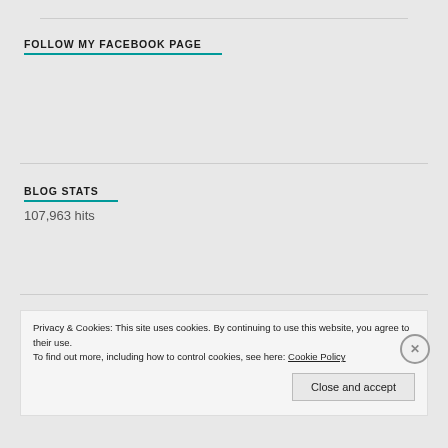FOLLOW MY FACEBOOK PAGE
BLOG STATS
107,963 hits
[Figure (other): Follow Planet-Trekker-Blog WordPress follow button with count 400]
Privacy & Cookies: This site uses cookies. By continuing to use this website, you agree to their use.
To find out more, including how to control cookies, see here: Cookie Policy
Close and accept